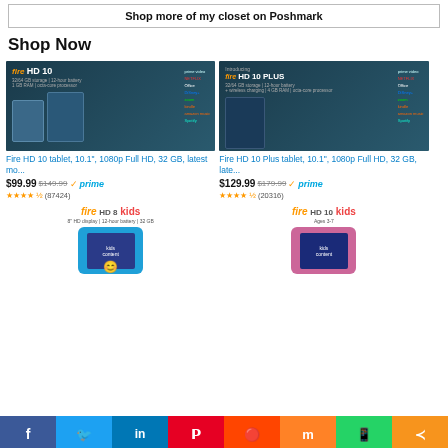Shop more of my closet on Poshmark
Shop Now
[Figure (photo): Amazon Fire HD 10 tablet product image on dark blue background with app icons]
Fire HD 10 tablet, 10.1", 1080p Full HD, 32 GB, latest mo...
$99.99  $149.99  ✓prime  ★★★★½ (87424)
[Figure (photo): Amazon Fire HD 10 Plus tablet product image on dark blue background with app icons]
Fire HD 10 Plus tablet, 10.1", 1080p Full HD, 32 GB, late...
$129.99  $179.99  ✓prime  ★★★★½ (20316)
[Figure (photo): Amazon Fire HD 8 Kids tablet with blue case]
[Figure (photo): Amazon Fire HD 10 Kids tablet with pink case]